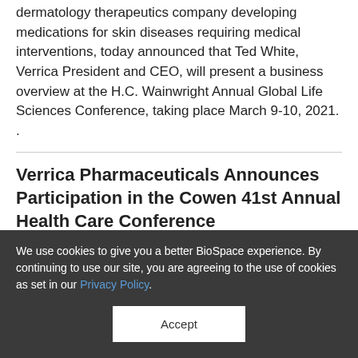dermatology therapeutics company developing medications for skin diseases requiring medical interventions, today announced that Ted White, Verrica President and CEO, will present a business overview at the H.C. Wainwright Annual Global Life Sciences Conference, taking place March 9-10, 2021. .
Verrica Pharmaceuticals Announces Participation in the Cowen 41st Annual Health Care Conference
2/23/2021
We use cookies to give you a better BioSpace experience. By continuing to use our site, you are agreeing to the use of cookies as set in our Privacy Policy.